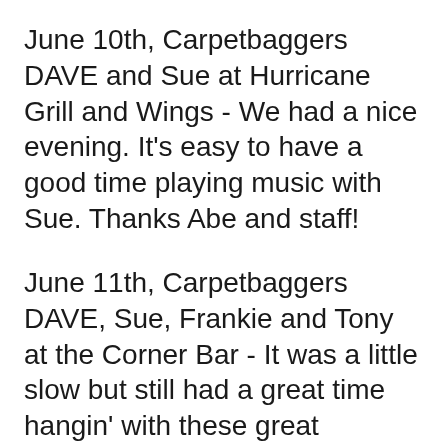June 10th, Carpetbaggers DAVE and Sue at Hurricane Grill and Wings - We had a nice evening. It's easy to have a good time playing music with Sue. Thanks Abe and staff!
June 11th, Carpetbaggers DAVE, Sue, Frankie and Tony at the Corner Bar - It was a little slow but still had a great time hangin' with these great players!
June 12th, 13th and 14th, DAVE at the Big Deck - It was great to be back in Cedar Key! It was good to see some old